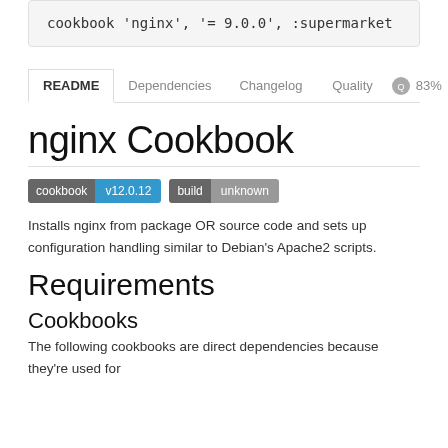cookbook 'nginx', '= 9.0.0', :supermarket
README  Dependencies  Changelog  Quality 83%
nginx Cookbook
cookbook v12.0.12  build unknown
Installs nginx from package OR source code and sets up configuration handling similar to Debian's Apache2 scripts.
Requirements
Cookbooks
The following cookbooks are direct dependencies because they're used for